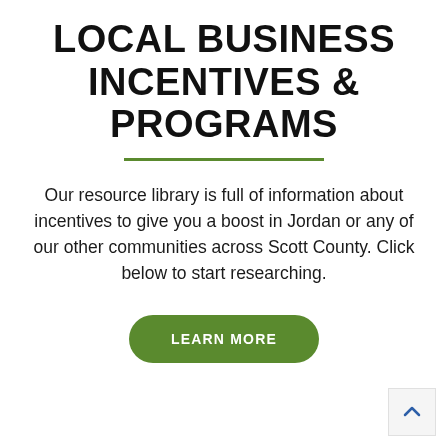LOCAL BUSINESS INCENTIVES & PROGRAMS
Our resource library is full of information about incentives to give you a boost in Jordan or any of our other communities across Scott County. Click below to start researching.
LEARN MORE